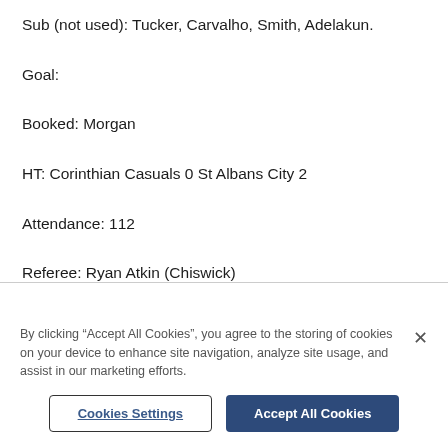Sub (not used): Tucker, Carvalho, Smith, Adelakun.
Goal:
Booked: Morgan
HT: Corinthian Casuals 0 St Albans City 2
Attendance: 112
Referee: Ryan Atkin (Chiswick)
By clicking “Accept All Cookies”, you agree to the storing of cookies on your device to enhance site navigation, analyze site usage, and assist in our marketing efforts.